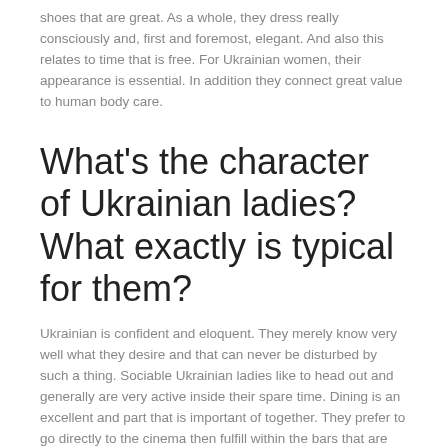shoes that are great. As a whole, they dress really consciously and, first and foremost, elegant. And also this relates to time that is free. For Ukrainian women, their appearance is essential. In addition they connect great value to human body care.
What's the character of Ukrainian ladies? What exactly is typical for them?
Ukrainian is confident and eloquent. They merely know very well what they desire and that can never be disturbed by such a thing. Sociable Ukrainian ladies like to head out and generally are very active inside their spare time. Dining is an excellent and part that is important of together. They prefer to go directly to the cinema then fulfill within the bars that are various take it easy extensively. The kids may also be on the way for a time that is long. The Ukrainian is lively and woman that is sociable additionally shower brand brand new acquaintances making use of their friendliness. This open-minded means additionally offers you the chance to get acquainted with some body pretty quickly.